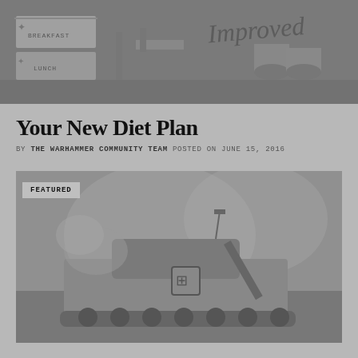[Figure (photo): Grayscale illustration showing military/sci-fi themed breakfast ration boxes labeled 'BREAKFAST' and 'LUNCH' with canned goods and the word 'Improved' in stylized lettering at top right]
Your New Diet Plan
BY THE WARHAMMER COMMUNITY TEAM POSTED ON JUNE 15, 2016
[Figure (photo): Grayscale illustration of a sci-fi military vehicle/tank with smoke or explosions in the background, with a 'FEATURED' badge overlay in the top left corner]